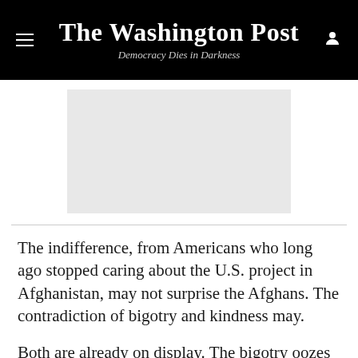The Washington Post
Democracy Dies in Darkness
[Figure (other): Advertisement placeholder gray rectangle]
The indifference, from Americans who long ago stopped caring about the U.S. project in Afghanistan, may not surprise the Afghans. The contradiction of bigotry and kindness may.
Both are already on display. The bigotry oozes forth from former president Donald Trump, who set the exodus in motion by signing a deal with the Taliban last year to seal the U.S. departure and now, along with